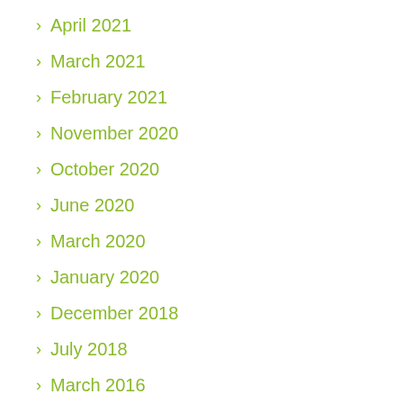April 2021
March 2021
February 2021
November 2020
October 2020
June 2020
March 2020
January 2020
December 2018
July 2018
March 2016
January 2016
January 2015